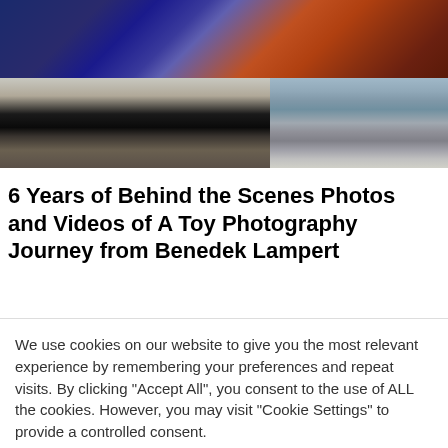[Figure (photo): Hero image collage: top strip shows motion blur with blue and orange/brown tones; bottom left shows a young person in a black t-shirt leaning over; bottom right shows a light painting or glowing swirl on a blue-gray background.]
6 Years of Behind the Scenes Photos and Videos of A Toy Photography Journey from Benedek Lampert
We use cookies on our website to give you the most relevant experience by remembering your preferences and repeat visits. By clicking "Accept All", you consent to the use of ALL the cookies. However, you may visit "Cookie Settings" to provide a controlled consent.